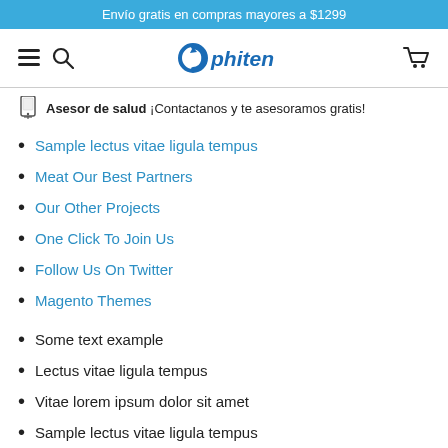Envío gratis en compras mayores a $1299
[Figure (logo): Phiten logo with navigation icons (hamburger, search, cart)]
Asesor de salud ¡Contactanos y te asesoramos gratis!
Sample lectus vitae ligula tempus
Meat Our Best Partners
Our Other Projects
One Click To Join Us
Follow Us On Twitter
Magento Themes
Some text example
Lectus vitae ligula tempus
Vitae lorem ipsum dolor sit amet
Sample lectus vitae ligula tempus
Some text example
Lectus vitae ligula tempus